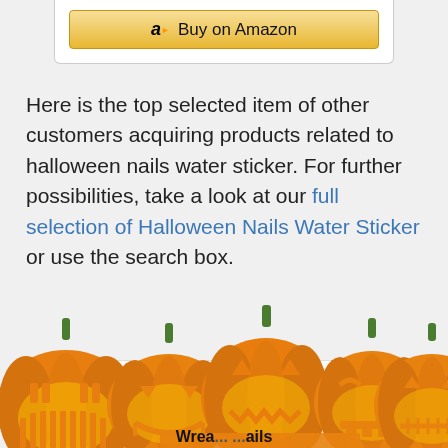[Figure (screenshot): Amazon Buy on Amazon button at the top of the page]
Here is the top selected item of other customers acquiring products related to halloween nails water sticker. For further possibilities, take a look at our full selection of Halloween Nails Water Sticker or use the search box.
[Figure (screenshot): Search this website input box with rounded corners]
[Figure (illustration): Row of orange jack-o-lantern pumpkins with various carved faces at the bottom of the page, partially cropped]
Wrea... ...ails